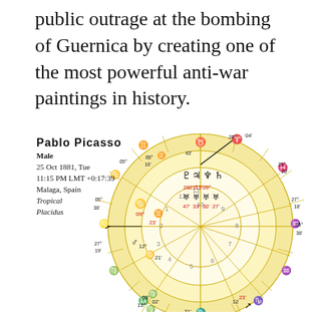public outrage at the bombing of Guernica by creating one of the most powerful anti-war paintings in history.
Pablo Picasso
Male
25 Oct 1881, Tue
11:15 PM LMT +0:17:39
Malaga, Spain
Tropical
Placidus
[Figure (other): Astrological natal chart / birth chart for Pablo Picasso. A circular chart with concentric rings showing astrological houses (numbered 1-12), zodiac signs (Taurus, Aries, Pisces, Aquarius, Capricorn, Sagittarius, Scorpio, Libra, Virgo, Leo, Cancer, Gemini), and planetary symbols with degree positions. Planets shown include Pluto, Jupiter, Neptune, Saturn in Taurus around the 10th house, Uranus symbols in Taurus, and Mars in Cancer. Various degree markings visible: 25°, 04', 43', 23°, 20', 27°, 18', 05°, 38', 27°, 18', 16', 05°, 38', 23', 09°, 21', 12°, 12, 23, 23', 28, 23°15'09°, 47'33'30'27', 10, 9, 8, 7, 6, 5, 4, 3, 2, 1, 11, 12, 31', 08', 02', 11°, 17°.]